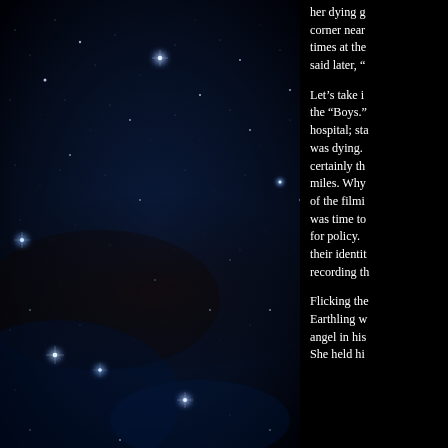[Figure (photo): Night sky photograph showing a deep-space star field with many bright and dim stars against a dark blue-black background, with some faint nebulosity visible.]
her dying g corner near times at the said later, “
Let’s take i the “Boys.” hospital; sta was dying. certainly th miles. Why of the filmi was time to for policy. their identit recording th
Flicking the Earthling w angel in his She held hi